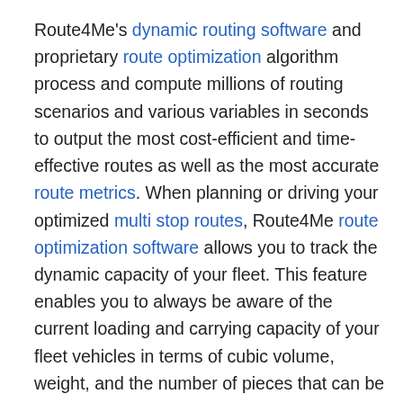Route4Me's dynamic routing software and proprietary route optimization algorithm process and compute millions of routing scenarios and various variables in seconds to output the most cost-efficient and time-effective routes as well as the most accurate route metrics. When planning or driving your optimized multi stop routes, Route4Me route optimization software allows you to track the dynamic capacity of your fleet. This feature enables you to always be aware of the current loading and carrying capacity of your fleet vehicles in terms of cubic volume, weight, and the number of pieces that can be loaded inside each vehicle. Whenever your drivers have to visit multiple stops of different types to deliver and/or pick up